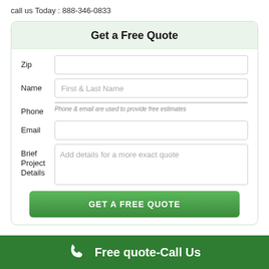call us Today : 888-346-0833
Get a Free Quote
[Figure (screenshot): Web form with fields for Zip, Name, Phone, Email, Brief Project Details, and a GET A FREE QUOTE submit button]
Free quote-Call Us